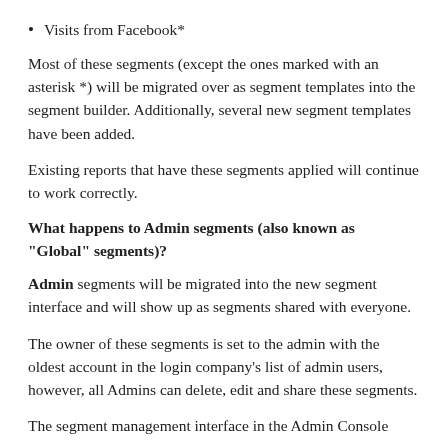Visits from Facebook*
Most of these segments (except the ones marked with an asterisk *) will be migrated over as segment templates into the segment builder. Additionally, several new segment templates have been added.
Existing reports that have these segments applied will continue to work correctly.
What happens to Admin segments (also known as "Global" segments)?
Admin segments will be migrated into the new segment interface and will show up as segments shared with everyone.
The owner of these segments is set to the admin with the oldest account in the login company's list of admin users, however, all Admins can delete, edit and share these segments.
The segment management interface in the Admin Console